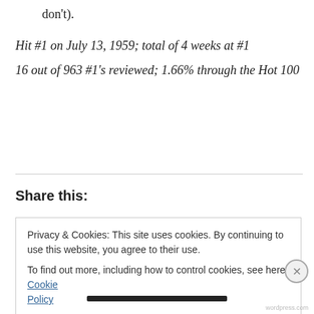don't).
Hit #1 on July 13, 1959; total of 4 weeks at #1
16 out of 963 #1's reviewed; 1.66% through the Hot 100
Share this:
Privacy & Cookies: This site uses cookies. By continuing to use this website, you agree to their use.
To find out more, including how to control cookies, see here: Cookie Policy
Close and accept